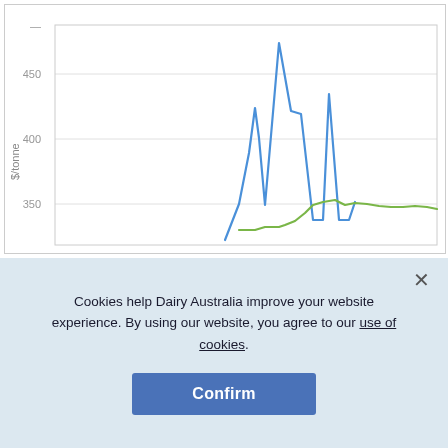[Figure (line-chart): Grain prices $/tonne]
Notes:
Change in price is the change since the last report. Prices are estimates based on delivery to dairy farms with allowance for freight, storage, and marketing costs, but exclusive of GST. Wheat prices are for the relevant
Cookies help Dairy Australia improve your website experience. By using our website, you agree to our use of cookies.
Confirm